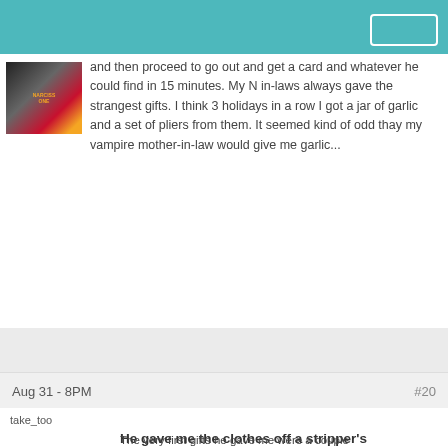and then proceed to go out and get a card and whatever he could find in 15 minutes. My N in-laws always gave the strangest gifts. I think 3 holidays in a row I got a jar of garlic and a set of pliers from them. It seemed kind of odd thay my vampire mother-in-law would give me garlic...
Aug 31 - 8PM
#20
take_too
He gave me the clothes off a stripper's back.......literally!
The very first gifts he gave me were a couple